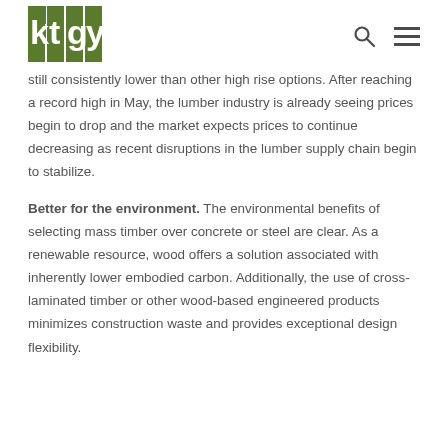ktgy [logo] [search icon] [menu icon]
still consistently lower than other high rise options. After reaching a record high in May, the lumber industry is already seeing prices begin to drop and the market expects prices to continue decreasing as recent disruptions in the lumber supply chain begin to stabilize.
Better for the environment. The environmental benefits of selecting mass timber over concrete or steel are clear. As a renewable resource, wood offers a solution associated with inherently lower embodied carbon. Additionally, the use of cross-laminated timber or other wood-based engineered products minimizes construction waste and provides exceptional design flexibility.